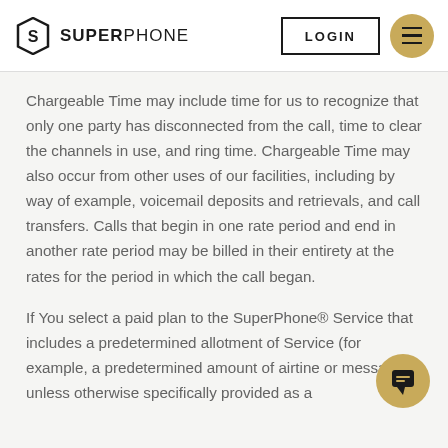SUPERPHONE — LOGIN
Chargeable Time may include time for us to recognize that only one party has disconnected from the call, time to clear the channels in use, and ring time. Chargeable Time may also occur from other uses of our facilities, including by way of example, voicemail deposits and retrievals, and call transfers. Calls that begin in one rate period and end in another rate period may be billed in their entirety at the rates for the period in which the call began.
If You select a paid plan to the SuperPhone® Service that includes a predetermined allotment of Service (for example, a predetermined amount of airtime or messages), unless otherwise specifically provided as a